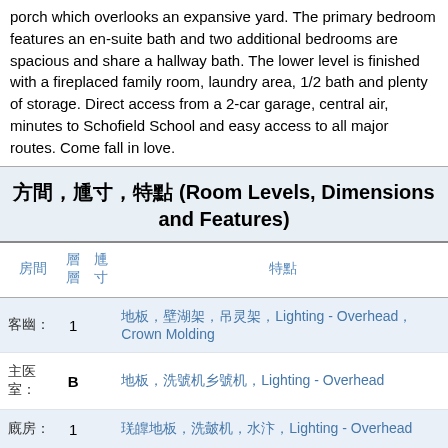porch which overlooks an expansive yard. The primary bedroom features an en-suite bath and two additional bedrooms are spacious and share a hallway bath. The lower level is finished with a fireplaced family room, laundry area, 1/2 bath and plenty of storage. Direct access from a 2-car garage, central air, minutes to Schofield School and easy access to all major routes. Come fall in love.
方間,尺寸,特點 (Room Levels, Dimensions and Features)
| 房間 | 層 | 尺寸 | 特點 |
| --- | --- | --- | --- |
| 客廳: | 1 |  | 地板,壁爐架,吊燈,Lighting - Overhead,Crown Molding |
| 主臥室: | B |  | 地板,洗衣機乾衣機,Lighting - Overhead |
| 廚房: | 1 |  | 瓷磚地板,洗碗機,水槽,Lighting - Overhead |
| 浴室1: | 1 |  | 浴缸-淋浴,地板,瓷磚地板 |
| 浴室2: | 1 |  | 地板,瓷磚地板 |